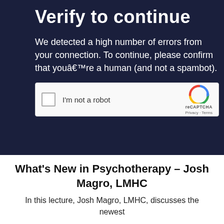Verify to continue
We detected a high number of errors from your connection. To continue, please confirm that youâ€™re a human (and not a spambot).
[Figure (screenshot): reCAPTCHA widget with checkbox labeled 'I'm not a robot' and reCAPTCHA logo with Privacy and Terms links]
What’s New in Psychotherapy – Josh Magro, LMHC
In this lecture, Josh Magro, LMHC, discusses the newest